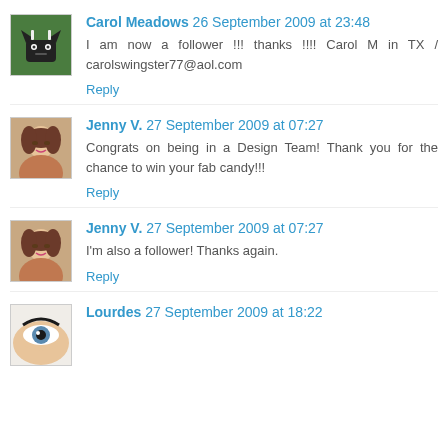[Figure (photo): Avatar of Carol Meadows: small pixelated image showing a cat on green background]
Carol Meadows 26 September 2009 at 23:48
I am now a follower !!! thanks !!!! Carol M in TX / carolswingster77@aol.com
Reply
[Figure (photo): Avatar of Jenny V.: woman with brown hair smiling]
Jenny V. 27 September 2009 at 07:27
Congrats on being in a Design Team! Thank you for the chance to win your fab candy!!!
Reply
[Figure (photo): Avatar of Jenny V.: woman with brown hair smiling]
Jenny V. 27 September 2009 at 07:27
I'm also a follower! Thanks again.
Reply
[Figure (photo): Avatar of Lourdes: close-up of eye]
Lourdes 27 September 2009 at 18:22